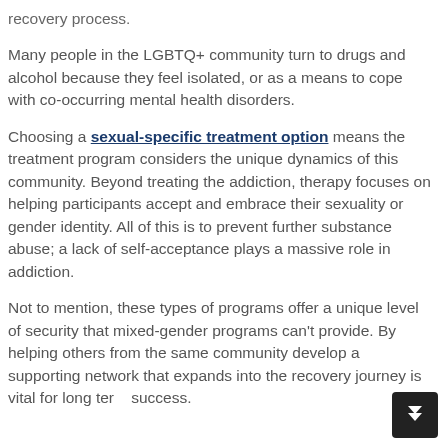recovery process.
Many people in the LGBTQ+ community turn to drugs and alcohol because they feel isolated, or as a means to cope with co-occurring mental health disorders.
Choosing a sexual-specific treatment option means the treatment program considers the unique dynamics of this community. Beyond treating the addiction, therapy focuses on helping participants accept and embrace their sexuality or gender identity. All of this is to prevent further substance abuse; a lack of self-acceptance plays a massive role in addiction.
Not to mention, these types of programs offer a unique level of security that mixed-gender programs can't provide. By helping others from the same community develop a supporting network that expands into the recovery journey is vital for long term success.